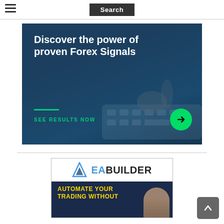Search
[Figure (illustration): Advertisement banner: dark blue background with person typing on laptop keyboard. White bold text reads 'Discover the power of proven Forex Signals'. Green horizontal line, green text 'SEE RESULTS NOW', and a green circular arrow button on the right.]
[Figure (logo): EA Builder advertisement banner. Top half: white background with blue triangle logo and 'EABUILDER' text. Bottom half: dark navy background with yellow bold text 'AUTOMATE YOUR TRADING WITHOUT' and a person's image on the right.]